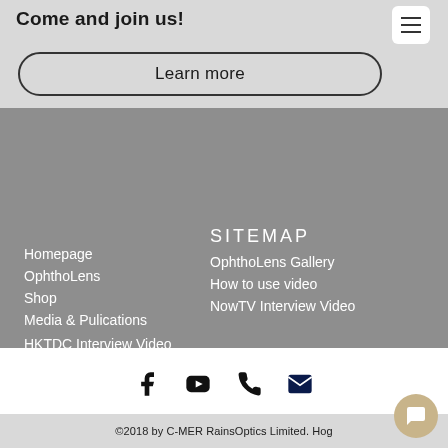Come and join us!
Learn more
SITEMAP
Homepage
OphthoLens
Shop
Media & Pulications
OphthoLens Gallery
How to use video
NowTV Interview Video
HKTDC Interview Video
InnoTech Expo Demo
About
Join Our Team
Contact
©2018 by C-MER RainsOptics Limited. Ho...g